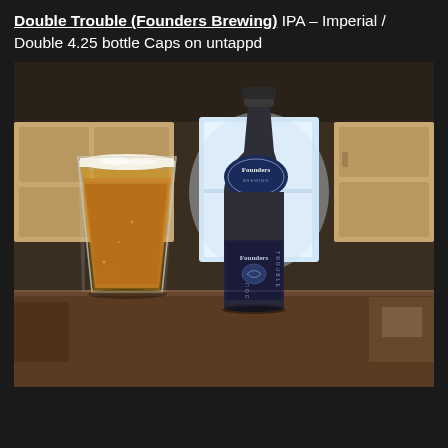Double Trouble (Founders Brewing) IPA – Imperial / Double 4.25 bottle Caps on untappd
[Figure (photo): A glass of golden IPA beer with a white foam head sits next to a dark Founders Brewing bottle with a blue label for Double Trouble IPA, photographed in a kitchen setting.]